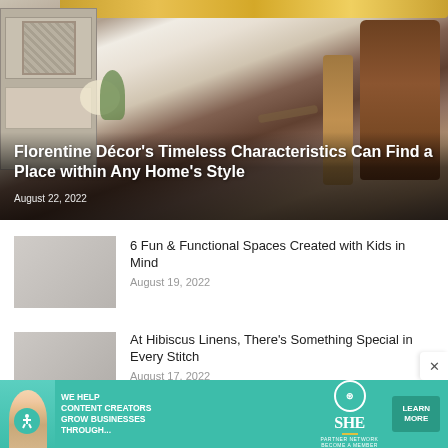[Figure (photo): Kitchen scene with white tile backsplash, gold ornate frame, wooden cutting boards, brass candlesticks, sink with bronze faucet, and grey cabinets with flowers]
Florentine Décor's Timeless Characteristics Can Find a Place within Any Home's Style
August 22, 2022
[Figure (photo): Thumbnail image for article about fun and functional spaces for kids]
6 Fun & Functional Spaces Created with Kids in Mind
August 19, 2022
[Figure (photo): Thumbnail image for article about Hibiscus Linens]
At Hibiscus Linens, There's Something Special in Every Stitch
August 17, 2022
[Figure (infographic): Teal advertisement banner: WE HELP CONTENT CREATORS GROW BUSINESSES THROUGH... with SHE Media Partner Network logo and LEARN MORE button]